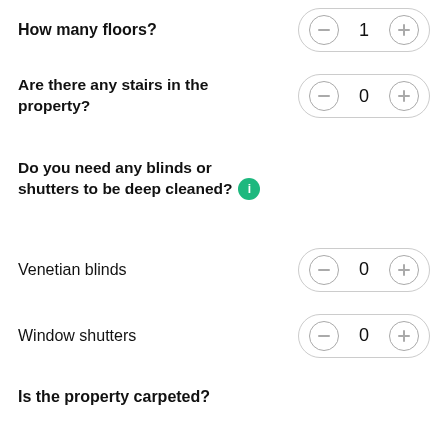How many floors?
Are there any stairs in the property?
Do you need any blinds or shutters to be deep cleaned?
Venetian blinds
Window shutters
Is the property carpeted?